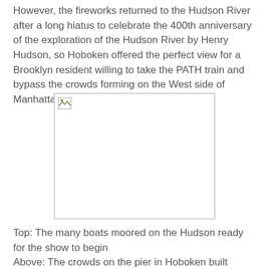However, the fireworks returned to the Hudson River after a long hiatus to celebrate the 400th anniversary of the exploration of the Hudson River by Henry Hudson, so Hoboken offered the perfect view for a Brooklyn resident willing to take the PATH train and bypass the crowds forming on the West side of Manhattan.
[Figure (photo): A photograph placeholder showing a broken image icon in the top-left corner, representing an image of boats moored on the Hudson River ready for the fireworks show.]
Top: The many boats moored on the Hudson ready for the show to begin
Above: The crowds on the pier in Hoboken built steadily